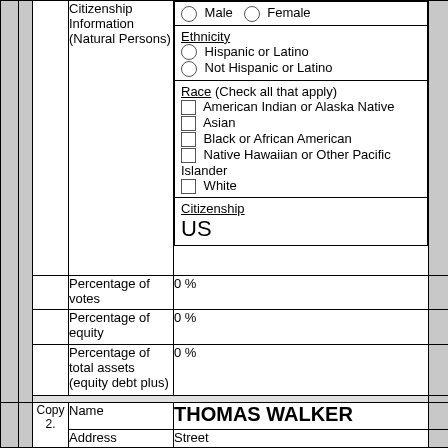|  | Citizenship Information (Natural Persons) | Male / Female (radio) | Ethnicity: Hispanic or Latino / Not Hispanic or Latino | Race (Check all that apply): American Indian or Alaska Native, Asian, Black or African American, Native Hawaiian or Other Pacific Islander, White | Citizenship: US |
|  | Percentage of votes | 0 % |
|  | Percentage of equity | 0 % |
|  | Percentage of total assets (equity debt plus) | 0 % |
| Copy 2. | Name | THOMAS WALKER |
|  | Address | Street |